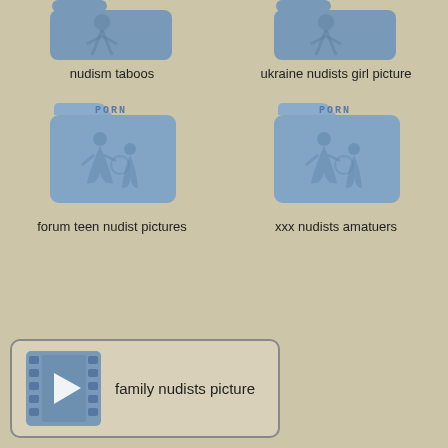[Figure (illustration): Folder icon (top of page, left) - partially visible blue folder with figure silhouette]
nudism taboos
[Figure (illustration): Folder icon (top of page, right) - partially visible blue folder with figure silhouette]
ukraine nudists girl picture
[Figure (illustration): Blue folder icon labeled PORN with figure silhouettes, left]
forum teen nudist pictures
[Figure (illustration): Blue folder icon labeled PORN with figure silhouettes, right]
xxx nudists amatuers
[Figure (illustration): Video widget with film strip icon and play button]
family nudists picture